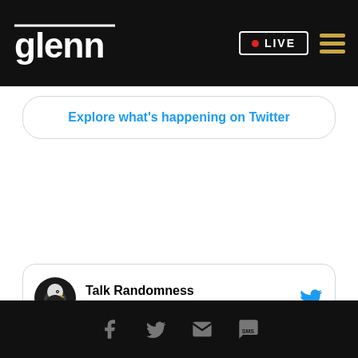glenn LIVE
Explore what's happening on Twitter
[Figure (other): Tweet card showing Talk Randomness @TalkRandomness with Follow button and Twitter bird icon. Avatar shows a bald eagle profile picture.]
Social share icons: Facebook, Twitter, Email, SMS